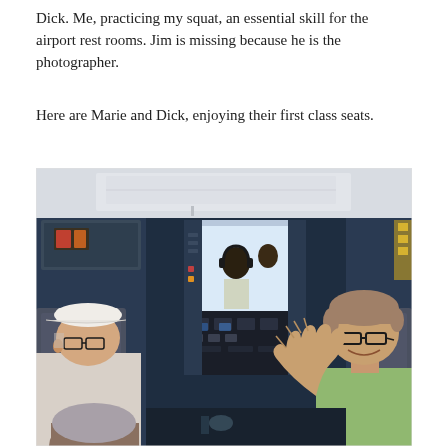Dick.  Me, practicing my squat, an essential skill for the airport rest rooms.  Jim is missing because he is the photographer.
Here are Marie and Dick, enjoying their first class seats.
[Figure (photo): Photo taken inside an airplane cabin looking toward the cockpit. On the left is an older man wearing a white baseball cap and glasses, seated. In the center background is an open cockpit door showing flight instruments and pilots. On the right is a woman with short gray-brown hair, wearing glasses and a light green shirt, smiling and waving at the camera. Aircraft seats are visible in the foreground.]